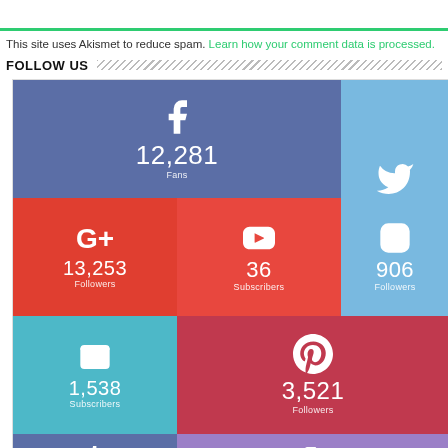This site uses Akismet to reduce spam. Learn how your comment data is processed.
FOLLOW US
[Figure (infographic): Social media follow widget showing 7 colored tiles: Facebook (12,281 Fans), Twitter (950 Followers), Google+ (13,253 Followers), YouTube (36 Subscribers), Instagram (906 Followers), Email (1,538 Subscribers), Pinterest (3,521 Followers), plus partial Tumblr and other tiles at bottom.]